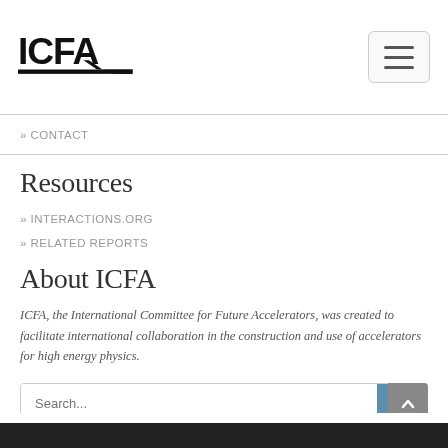[Figure (logo): ICFA logo with bold text and horizontal lines/chevron]
» CONTACT
Resources
» INTERACTIONS.ORG
» RELATED REPORTS
About ICFA
ICFA, the International Committee for Future Accelerators, was created to facilitate international collaboration in the construction and use of accelerators for high energy physics.